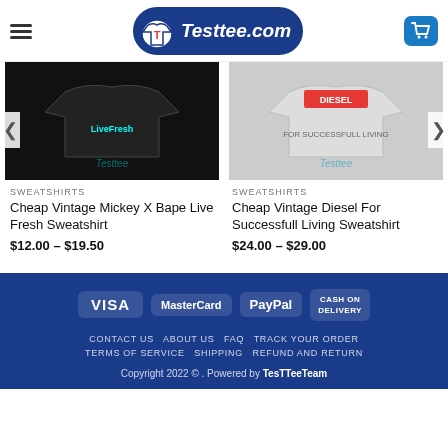Testtee.com
[Figure (screenshot): Black sweatshirt with Live Fresh graphic design, Testtee watermark]
[Figure (screenshot): White sweatshirt with Diesel For Successfull Living logo, Testtee watermark]
SWEATSHIRTS
Cheap Vintage Mickey X Bape Live Fresh Sweatshirt
$12.00 – $19.50
SWEATSHIRTS
Cheap Vintage Diesel For Successfull Living Sweatshirt
$24.00 – $29.00
CONTACT US  ABOUT US  FAQ  TRACK YOUR ORDER  TERMS OF SERVICE  SHIPPING  REFUND AND RETURN  Copyright 2022 © . Powered by TesTTeeTeam